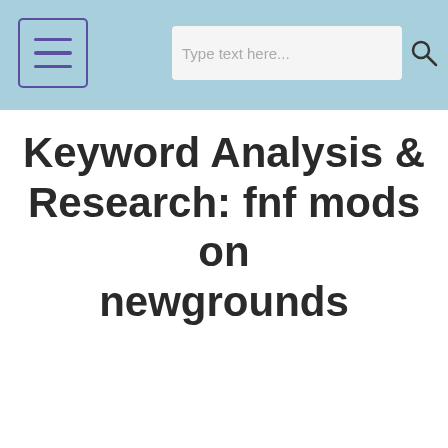Keyword Analysis & Research: fnf mods on newgrounds
Keyword Analysis & Research: fnf mods on newgrounds